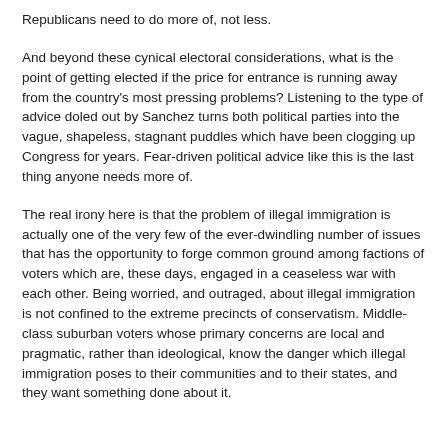Republicans need to do more of, not less.
And beyond these cynical electoral considerations, what is the point of getting elected if the price for entrance is running away from the country's most pressing problems? Listening to the type of advice doled out by Sanchez turns both political parties into the vague, shapeless, stagnant puddles which have been clogging up Congress for years. Fear-driven political advice like this is the last thing anyone needs more of.
The real irony here is that the problem of illegal immigration is actually one of the very few of the ever-dwindling number of issues that has the opportunity to forge common ground among factions of voters which are, these days, engaged in a ceaseless war with each other. Being worried, and outraged, about illegal immigration is not confined to the extreme precincts of conservatism. Middle-class suburban voters whose primary concerns are local and pragmatic, rather than ideological, know the danger which illegal immigration poses to their communities and to their states, and they want something done about it.